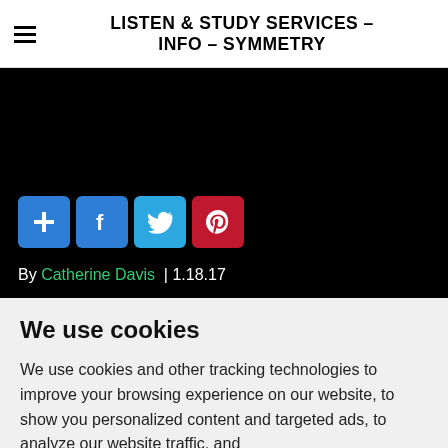LISTEN & STUDY SERVICES – INFO – SYMMETRY
[Figure (screenshot): Black banner image area with social share buttons (plus, Facebook, Twitter, Pinterest) and byline 'By Catherine Davis | 1.18.17']
We use cookies
We use cookies and other tracking technologies to improve your browsing experience on our website, to show you personalized content and targeted ads, to analyze our website traffic, and